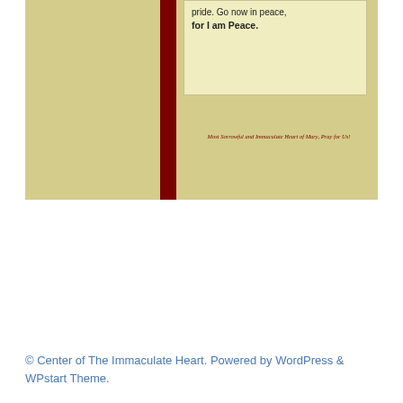[Figure (illustration): A book or pamphlet shown open with two panels and a dark red spine in the center. The left panel is a plain tan/olive colored page. The right panel shows a light yellow quote box at the top with text about pride and peace, and below it italic text reading 'Most Sorrowful and Immaculate Heart of Mary, Pray for Us!']
pride. Go now in peace, for I am Peace.
Most Sorrowful and Immaculate Heart of Mary, Pray for Us!
© Center of The Immaculate Heart. Powered by WordPress & WPstart Theme.